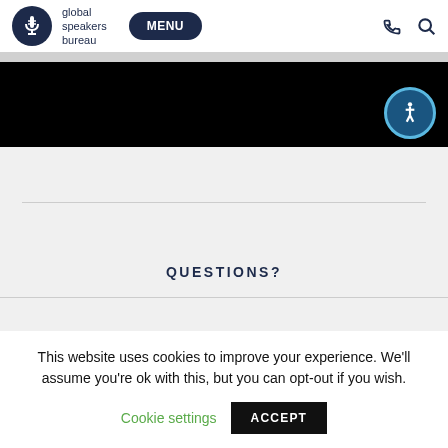global speakers bureau — MENU
[Figure (screenshot): Black hero banner with accessibility icon (person in circle) in bottom-right corner]
QUESTIONS?
This website uses cookies to improve your experience. We'll assume you're ok with this, but you can opt-out if you wish.
Cookie settings   ACCEPT